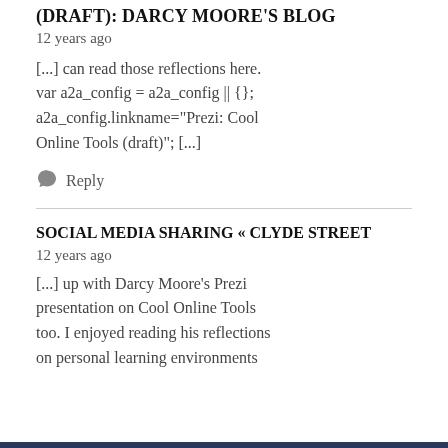(DRAFT): DARCY MOORE'S BLOG
12 years ago
[...] can read those reflections here. var a2a_config = a2a_config || {}; a2a_config.linkname="Prezi: Cool Online Tools (draft)"; [...]
Reply
SOCIAL MEDIA SHARING « CLYDE STREET
12 years ago
[...] up with Darcy Moore's Prezi presentation on Cool Online Tools too. I enjoyed reading his reflections on personal learning environments